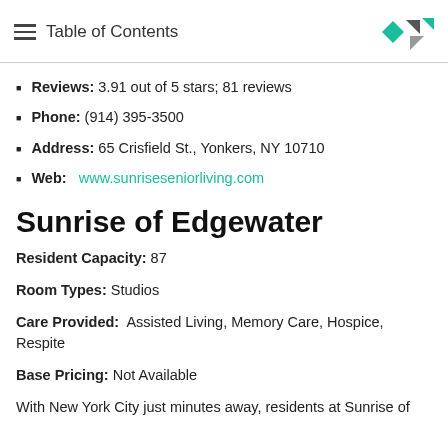Table of Contents
Reviews: 3.91 out of 5 stars; 81 reviews
Phone: (914) 395-3500
Address: 65 Crisfield St., Yonkers, NY 10710
Web: www.sunriseseniorliving.com
Sunrise of Edgewater
Resident Capacity: 87
Room Types: Studios
Care Provided: Assisted Living, Memory Care, Hospice, Respite
Base Pricing: Not Available
With New York City just minutes away, residents at Sunrise of